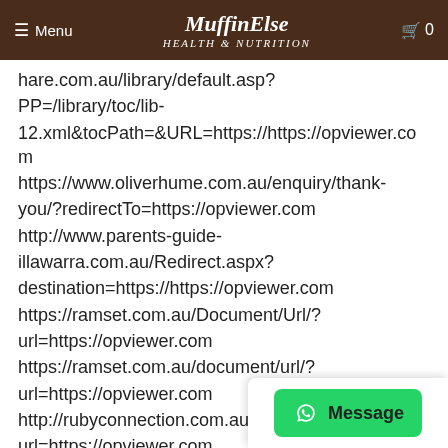≡ Menu  MuffinElse  🛒 0
hare.com.au/library/default.asp?PP=/library/toc/lib-12.xml&tocPath=&URL=https://https://opviewer.com
https://www.oliverhume.com.au/enquiry/thank-you/?redirectTo=https://opviewer.com
http://www.parents-guide-illawarra.com.au/Redirect.aspx?destination=https://https://opviewer.com
https://ramset.com.au/Document/Url/?url=https://opviewer.com
https://ramset.com.au/document/url/?url=https://opviewer.com
http://rubyconnection.com.au/umbraco/news...url=https://opviewer.com
http://southburnett.com.au/movies/movie.php?...